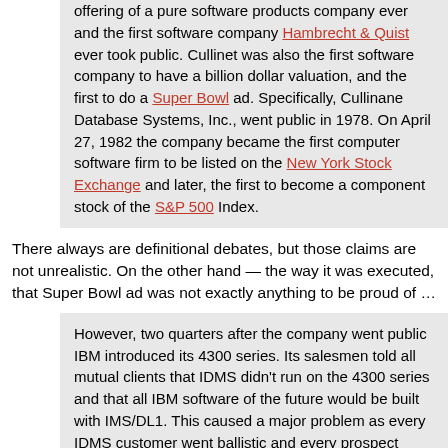offering of a pure software products company ever and the first software company Hambrecht & Quist ever took public. Cullinet was also the first software company to have a billion dollar valuation, and the first to do a Super Bowl ad. Specifically, Cullinane Database Systems, Inc., went public in 1978. On April 27, 1982 the company became the first computer software firm to be listed on the New York Stock Exchange and later, the first to become a component stock of the S&P 500 Index.
There always are definitional debates, but those claims are not unrealistic. On the other hand — the way it was executed, that Super Bowl ad was not exactly anything to be proud of …
However, two quarters after the company went public IBM introduced its 4300 series. Its salesmen told all mutual clients that IDMS didn't run on the 4300 series and that all IBM software of the future would be built with IMS/DL1. This caused a major problem as every IDMS customer went ballistic and every prospect went on hold. The company only had three months to solve this marketing problem, and technical problem, and remarkably, they did. Technically, it only required the modification of one instruction to get IDMS running on a 4300.
Obviously hyperbolic.
The solution to the company's revenue problem turned out to be its new Integrated Data Dictionary. By moving very fast, the company used it to